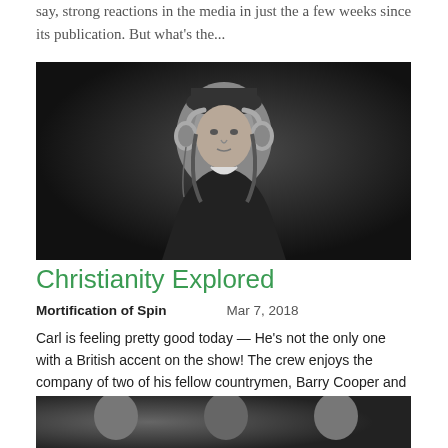say, strong reactions in the media in just the a few weeks since its publication. But what's the...
[Figure (photo): Black and white portrait of a historical figure wearing headphones, dark background]
Christianity Explored
Mortification of Spin   Mar 7, 2018
Carl is feeling pretty good today — He's not the only one with a British accent on the show! The crew enjoys the company of two of his fellow countrymen, Barry Cooper and Nate Morgan Locke . One a former comedy writer and performer, the other, from the far land of Spare Oom just outside...
[Figure (photo): Black and white group photo partially visible at bottom of page]